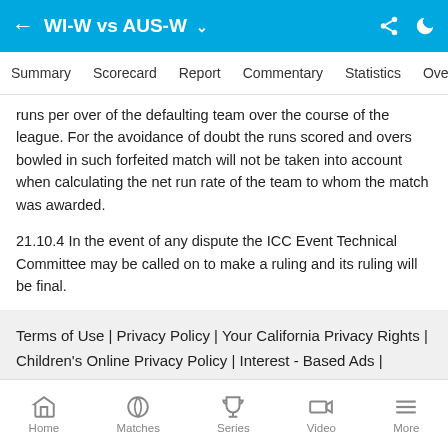WI-W vs AUS-W
Summary | Scorecard | Report | Commentary | Statistics | Overs
runs per over of the defaulting team over the course of the league. For the avoidance of doubt the runs scored and overs bowled in such forfeited match will not be taken into account when calculating the net run rate of the team to whom the match was awarded.
21.10.4 In the event of any dispute the ICC Event Technical Committee may be called on to make a ruling and its ruling will be final.
Terms of Use | Privacy Policy | Your California Privacy Rights | Children's Online Privacy Policy | Interest - Based Ads | Do Not Sell My Personal Information | Feedback
© 2022 ESPN Sports Media Ltd. All rights reserved
Home | Matches | Series | Video | More